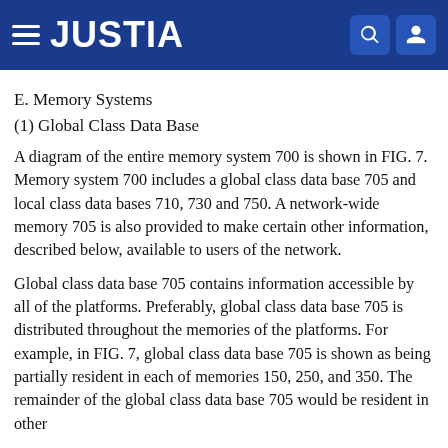JUSTIA
E. Memory Systems
(1) Global Class Data Base
A diagram of the entire memory system 700 is shown in FIG. 7. Memory system 700 includes a global class data base 705 and local class data bases 710, 730 and 750. A network-wide memory 705 is also provided to make certain other information, described below, available to users of the network.
Global class data base 705 contains information accessible by all of the platforms. Preferably, global class data base 705 is distributed throughout the memories of the platforms. For example, in FIG. 7, global class data base 705 is shown as being partially resident in each of memories 150, 250, and 350. The remainder of the global class data base 705 would be resident in other